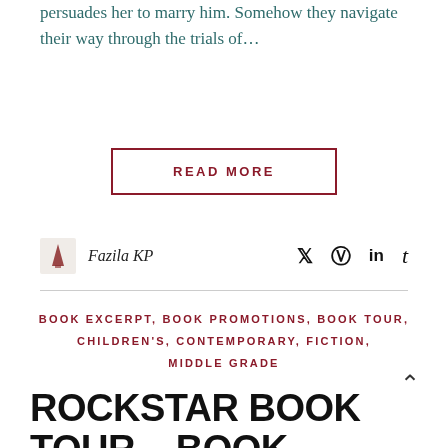persuades her to marry him. Somehow they navigate their way through the trials of…
READ MORE
Fazila KP
BOOK EXCERPT, BOOK PROMOTIONS, BOOK TOUR, CHILDREN'S, CONTEMPORARY, FICTION, MIDDLE GRADE
ROCKSTAR BOOK TOUR – BOOK EXCERPT : THE